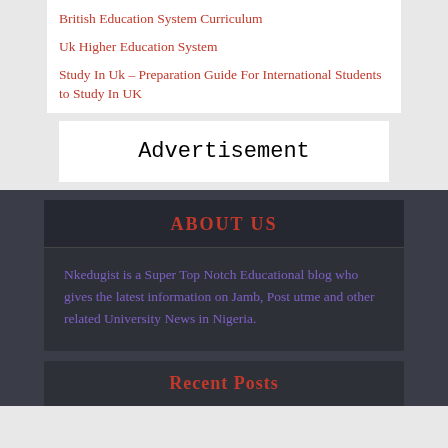British Education System Curriculum
Uk Higher Education System
Study In Uk – Preparation Guide For International Students to Study In UK
Advertisement
ABOUT US
Nkedugist is a Super Top Notch Educational blog who gives the latest information on Jamb, Post utme and other related University News in Nigeria.
Recent Posts